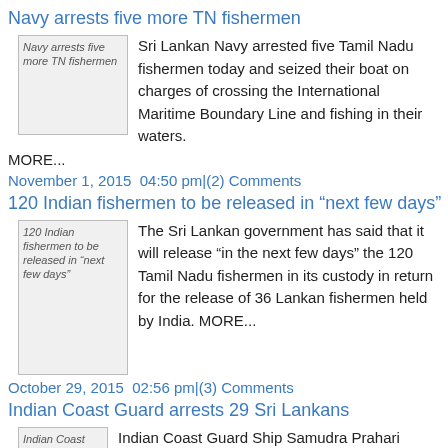Navy arrests five more TN fishermen
[Figure (photo): Thumbnail image for article: Navy arrests five more TN fishermen]
Sri Lankan Navy arrested five Tamil Nadu fishermen today and seized their boat on charges of crossing the International Maritime Boundary Line and fishing in their waters. MORE...
November 1, 2015  04:50 pm|(2) Comments
120 Indian fishermen to be released in “next few days”
[Figure (photo): Thumbnail image for article: 120 Indian fishermen to be released in “next few days”]
The Sri Lankan government has said that it will release “in the next few days” the 120 Tamil Nadu fishermen in its custody in return for the release of 36 Lankan fishermen held by India. MORE...
October 29, 2015  02:56 pm|(3) Comments
Indian Coast Guard arrests 29 Sri Lankans
[Figure (photo): Thumbnail image for article: Indian Coast Guard arrests 29 Sri Lankans]
Indian Coast Guard Ship Samudra Prahari apprehended two Sri Lankan trawlers namely